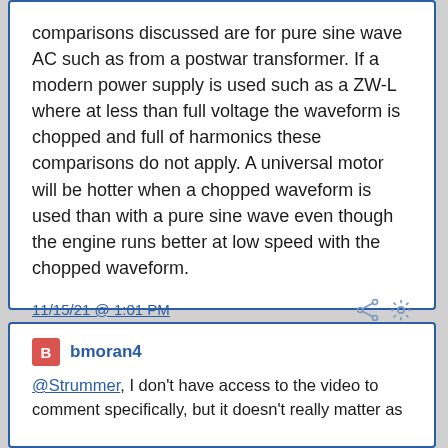comparisons discussed are for pure sine wave AC such as from a postwar transformer. If a modern power supply is used such as a ZW-L where at less than full voltage the waveform is chopped and full of harmonics these comparisons do not apply. A universal motor will be hotter when a chopped waveform is used than with a pure sine wave even though the engine runs better at low speed with the chopped waveform.
11/15/21 @ 1:01 PM
♥ 2
B bmoran4
@Strummer, I don't have access to the video to comment specifically, but it doesn't really matter as